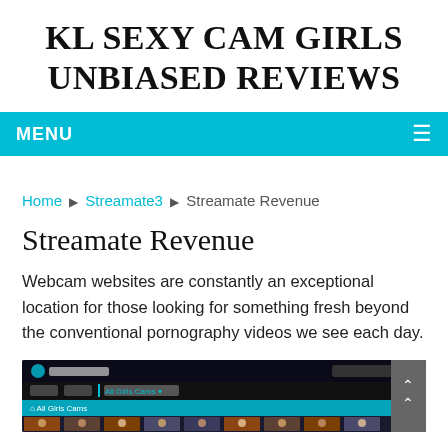KL SEXY CAM GIRLS UNBIASED REVIEWS
MENU
Home ▶ Streamate3 ▶ Streamate Revenue
Streamate Revenue
Webcam websites are constantly an exceptional location for those looking for something fresh beyond the conventional pornography videos we see each day.
[Figure (screenshot): Screenshot of the Streamate website showing the homepage with All Girls Cams section and thumbnail images of cam performers.]